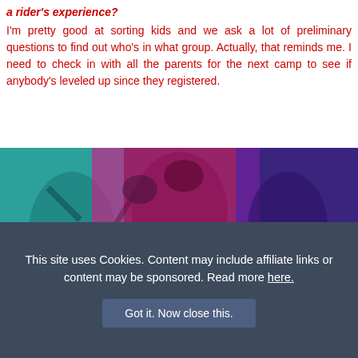a rider's experience?
I'm pretty good at sorting kids and we ask a lot of preliminary questions to find out who's in what group. Actually, that reminds me. I need to check in with all the parents for the next camp to see if anybody's leveled up since they registered.
[Figure (photo): Group of children wearing bicycle helmets, posing together. The image is split into three color-tinted sections: teal on the left, magenta/pink in the center, and purple/blue on the right.]
This site uses Cookies. Content may include affiliate links or content may be sponsored. Read more here.
Got it. Now close this.